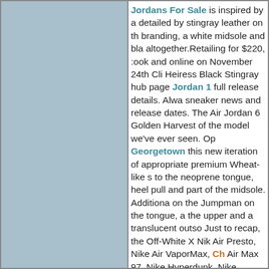[Figure (other): Large light blue/grey rectangular panel on the left side of the page, serving as an image placeholder.]
Jordans For Sale is inspired by a detailed by stingray leather on th branding, a white midsole and bla altogether.Retailing for $220, :ook and online on November 24th Cli Heiress Black Stingray hub page Jordan 1 full release details. Alwa sneaker news and release dates. The Air Jordan 6 Golden Harvest of the model we've ever seen. Op Georgetown this new iteration of appropriate premium Wheat-like s to the neoprene tongue, heel pull and part of the midsole. Additiona on the Jumpman on the tongue, a the upper and a translucent outso Just to recap, the Off-White X Nik Air Presto, Nike Air VaporMax, Ch Air Max 97, Nike Hyperdunk, Nike Taylors (not shown). You should a let's just say, you're too late, ha!T a list that shows at what time eac PST (Prestos). Get a good look at of luck, we're all definitely going t A brand new colorway of the Air J Desert Sand theme. Images of the release date is now reported to dr upper with infrared 23 accents wi